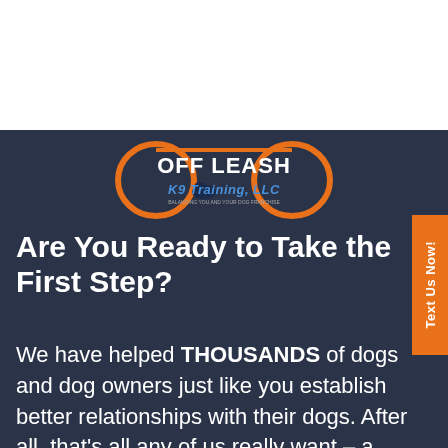[Figure (logo): Off Leash K9 Training, LLC logo with orange leash circle design and dog silhouette on dark navy background]
Are You Ready to Take the First Step?
We have helped THOUSANDS of dogs and dog owners just like you establish better relationships with their dogs. After all, that's all any of us really want – a